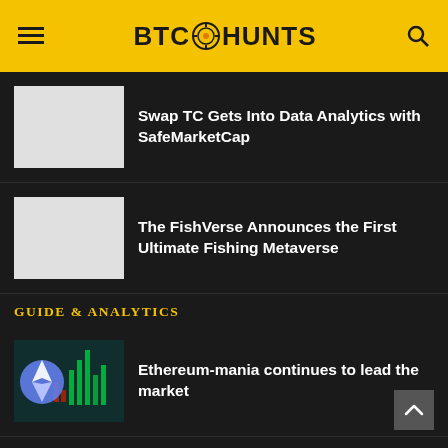BTC HUNTS
Swap TC Gets Into Data Analytics with SafeMarketCap
The FishVerse Announces the First Ultimate Fishing Metaverse
GUIDE & ANALYTICS
Ethereum-mania continues to lead the market
There's already a forked Ethereum token (and it's